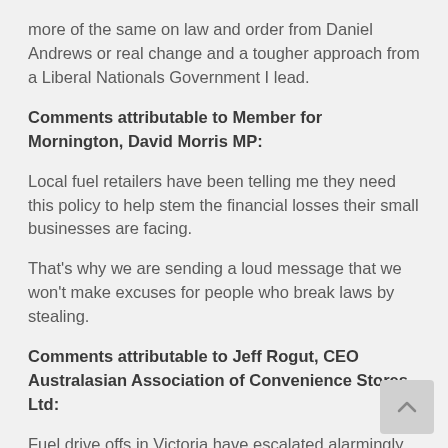more of the same on law and order from Daniel Andrews or real change and a tougher approach from a Liberal Nationals Government I lead.
Comments attributable to Member for Mornington, David Morris MP:
Local fuel retailers have been telling me they need this policy to help stem the financial losses their small businesses are facing.
That's why we are sending a loud message that we won't make excuses for people who break laws by stealing.
Comments attributable to Jeff Rogut, CEO Australasian Association of Convenience Stores Ltd:
Fuel drive offs in Victoria have escalated alarmingly